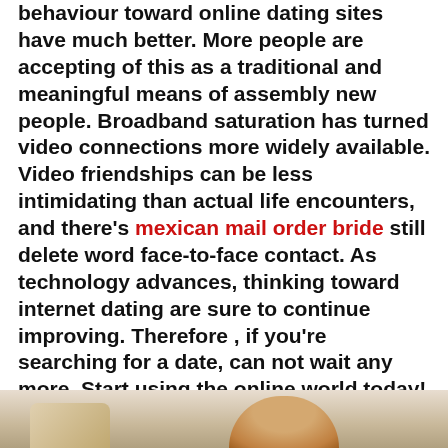behaviour toward online dating sites have much better. More people are accepting of this as a traditional and meaningful means of assembly new people. Broadband saturation has turned video connections more widely available. Video friendships can be less intimidating than actual life encounters, and there's mexican mail order bride still delete word face-to-face contact. As technology advances, thinking toward internet dating are sure to continue improving. Therefore , if you're searching for a date, can not wait any more. Start using the online world today! You'll certainly be glad you did. It can time to help to make a new start and match your excellent partner. Merely don't get stuck on the stereotypes.
[Figure (photo): Partial photo of a person visible at the bottom of the page]